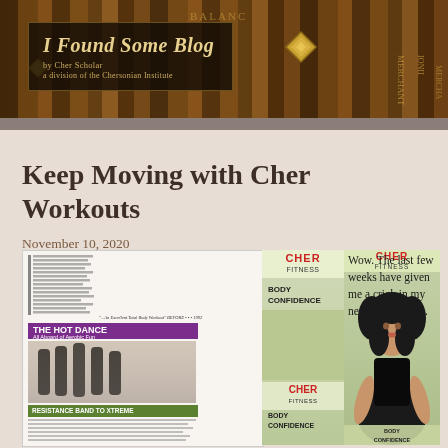[Figure (photo): Blog header banner with book spines background and 'I Found Some Blog by Cher Scholar, a division of the Chersonian Institute' text overlay]
Keep Moving with Cher Workouts
November 10, 2020
[Figure (photo): Magazine article page showing Cher workout content with dancers in black outfits, 'THE HOT DANCE' heading in purple, and workout text]
[Figure (photo): Cher Fitness Body Confidence VHS cover showing logo and text]
[Figure (photo): Cher Fitness Body Confidence VHS cover showing Cher in black outfit with curly hair]
Wow. The last few weeks have given me a crick in my neck. Civil War...